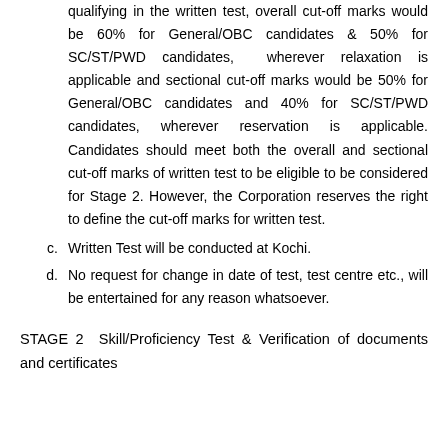qualifying in the written test, overall cut-off marks would be 60% for General/OBC candidates & 50% for SC/ST/PWD candidates, wherever relaxation is applicable and sectional cut-off marks would be 50% for General/OBC candidates and 40% for SC/ST/PWD candidates, wherever reservation is applicable. Candidates should meet both the overall and sectional cut-off marks of written test to be eligible to be considered for Stage 2. However, the Corporation reserves the right to define the cut-off marks for written test.
c.        Written Test will be conducted at Kochi.
d.        No request for change in date of test, test centre etc., will be entertained for any reason whatsoever.
STAGE 2 Skill/Proficiency Test & Verification of documents and certificates